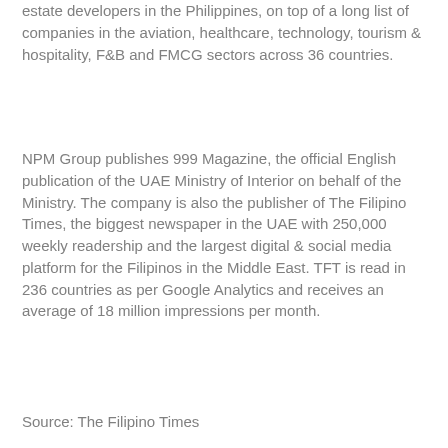estate developers in the Philippines, on top of a long list of companies in the aviation, healthcare, technology, tourism & hospitality, F&B and FMCG sectors across 36 countries.
NPM Group publishes 999 Magazine, the official English publication of the UAE Ministry of Interior on behalf of the Ministry. The company is also the publisher of The Filipino Times, the biggest newspaper in the UAE with 250,000 weekly readership and the largest digital & social media platform for the Filipinos in the Middle East. TFT is read in 236 countries as per Google Analytics and receives an average of 18 million impressions per month.
Source: The Filipino Times